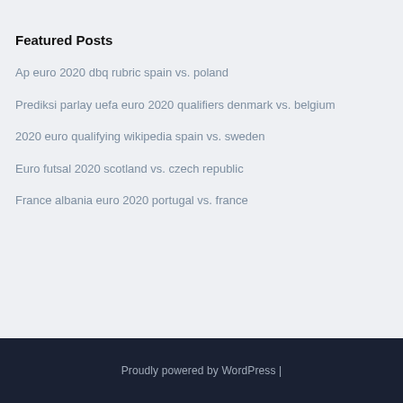Featured Posts
Ap euro 2020 dbq rubric spain vs. poland
Prediksi parlay uefa euro 2020 qualifiers denmark vs. belgium
2020 euro qualifying wikipedia spain vs. sweden
Euro futsal 2020 scotland vs. czech republic
France albania euro 2020 portugal vs. france
Proudly powered by WordPress |